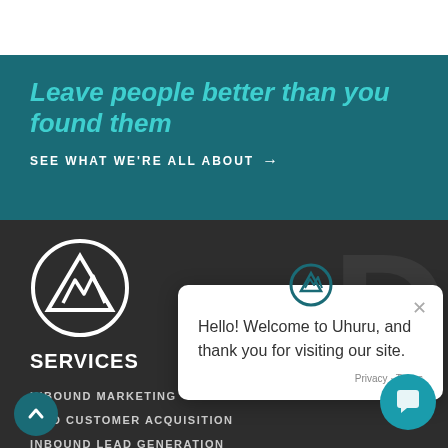Leave people better than you found them
SEE WHAT WE'RE ALL ABOUT →
[Figure (logo): Uhuru company logo — a triangle with mountain peaks inside a circle, white on dark background]
SERVICES
INBOUND MARKETING
PAID CUSTOMER ACQUISITION
INBOUND LEAD GENERATION
SALES ENABLEMENT
[Figure (screenshot): Chat popup widget saying: Hello! Welcome to Uhuru, and thank you for visiting our site. With Privacy - Terms link and close X button.]